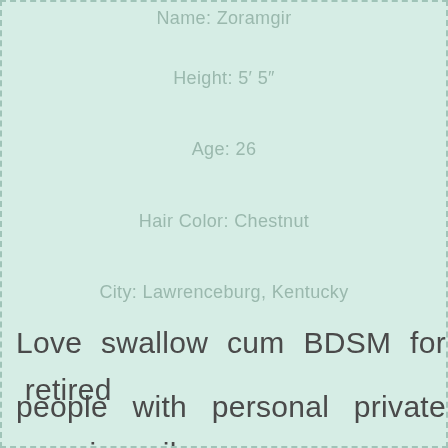Name: Zoramgir
Height: 5' 5"
Age: 26
Hair Color: Chestnut
City: Lawrenceburg, Kentucky
Love swallow cum BDSM for retired
people with personal private sex juvenil